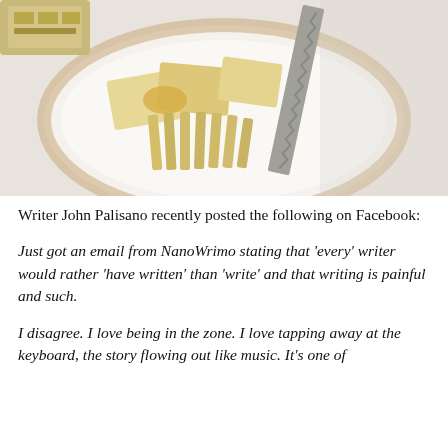[Figure (photo): Overhead view of a white ceramic plate with sliced pale yellow cheese cut into pieces and a serrated knife resting on the plate. A cardboard box is partially visible in the upper left corner. The plate has a beige/brown rim.]
Writer John Palisano recently posted the following on Facebook:
Just got an email from NanoWrimo stating that 'every' writer would rather 'have written' than 'write' and that writing is painful and such.
I disagree. I love being in the zone. I love tapping away at the keyboard, the story flowing out like music. It's one of